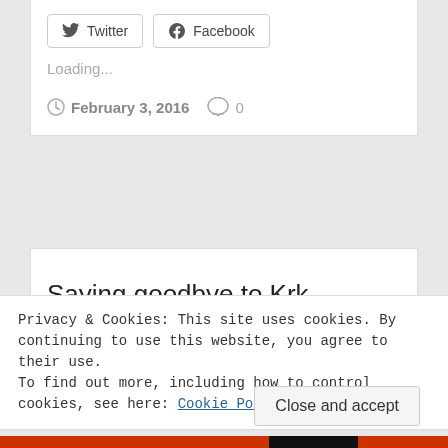[Figure (screenshot): Social share buttons: Twitter and Facebook buttons with border]
Loading...
February 3, 2016   0
Saying goodbye to Krk
Privacy & Cookies: This site uses cookies. By continuing to use this website, you agree to their use.
To find out more, including how to control cookies, see here: Cookie Policy
Close and accept